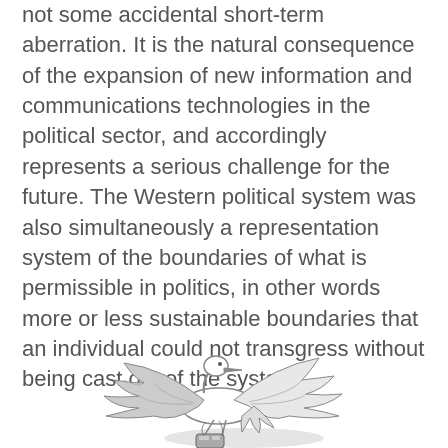not some accidental short-term aberration. It is the natural consequence of the expansion of new information and communications technologies in the political sector, and accordingly represents a serious challenge for the future. The Western political system was also simultaneously a representation system of the boundaries of what is permissible in politics, in other words more or less sustainable boundaries that an individual could not transgress without being cast out of the system.
[Figure (illustration): A cartoon illustration of a white stork or crane in flight, carrying something in its beak/feet (appears to be a small device or object), with wings spread wide and a shadow beneath it. Drawn in a simple black and gray line art style.]